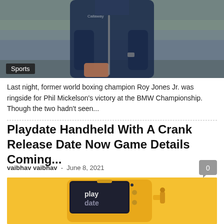[Figure (photo): Golfer in dark jacket holding a golf club, photographed from shoulders down, with blurred green background. Sports category badge in bottom left.]
Last night, former world boxing champion Roy Jones Jr. was ringside for Phil Mickelson's victory at the BMW Championship. Though the two hadn't seen...
Playdate Handheld With A Crank Release Date Now Game Details Coming...
vaibhav vaibhav  -  June 8, 2021
[Figure (photo): Playdate handheld gaming device with yellow body and black screen showing 'play date' text, on a yellow background. Device has a crank on the side.]